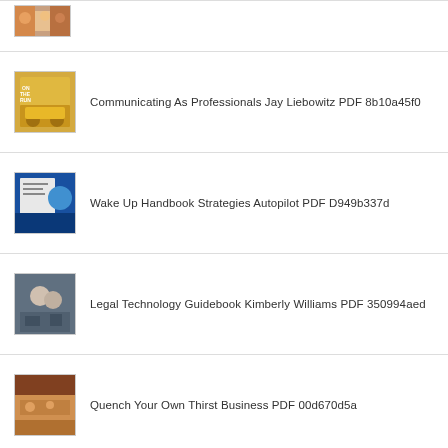[Figure (photo): Thumbnail image - colorful crowd/people scene]
Communicating As Professionals Jay Liebowitz PDF 8b10a45f0
Wake Up Handbook Strategies Autopilot PDF D949b337d
Legal Technology Guidebook Kimberly Williams PDF 350994aed
Quench Your Own Thirst Business PDF 00d670d5a
Cattle Crops Spurs Business Cowboy PDF 59efe9933